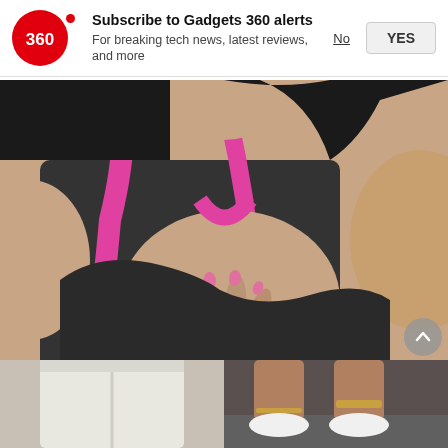Subscribe to Gadgets 360 alerts
For breaking tech news, latest reviews, and more
[Figure (photo): Woman in dark tank top with pink sports bra straps, holding her hand to her chest area]
The First Red Flag Of Metastatic Breast Cancer (Write This Down)
Metastatic Breast Cancer | Search Ads | Sponsored
[Figure (photo): Two partial images at the bottom: left shows white pants, right shows person's legs and white shoes with gold accessories]